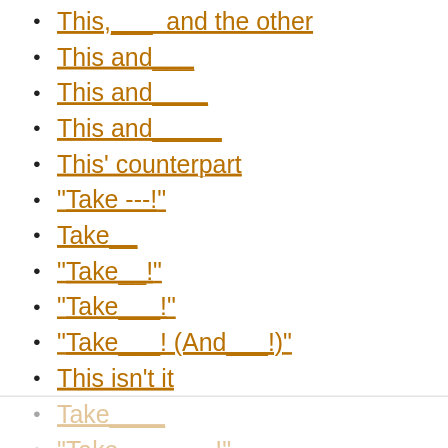This,___ and the other
This and___
This and____
This and_____
This' counterpart
"Take ---!"
Take__
"Take__!"
"Take___!"
"Take___! (And___!)"
This isn't it
Take____
"Take_______!"